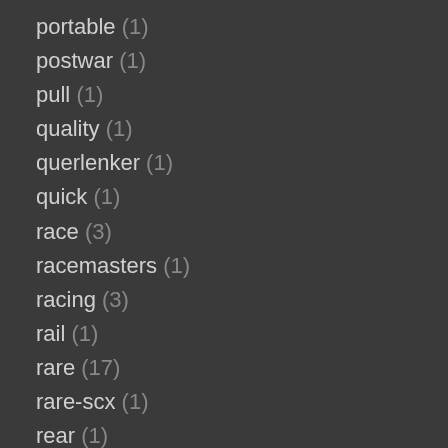portable (1)
postwar (1)
pull (1)
quality (1)
querlenker (1)
quick (1)
race (3)
racemasters (1)
racing (3)
rail (1)
rare (17)
rare-scx (1)
rear (1)
record (1)
review (2)
road (1)
robocar (1)
robot (1)